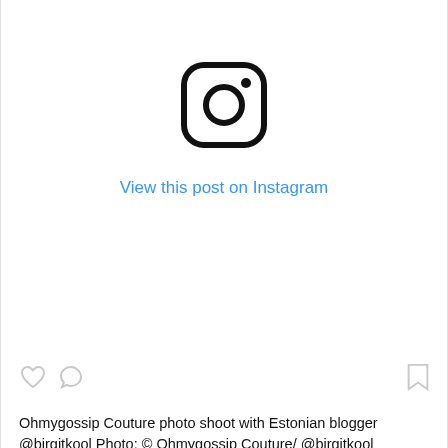[Figure (logo): Instagram camera icon logo in black outline style]
View this post on Instagram
[Figure (other): Three social action icons: heart, comment bubble, and bookmark]
Ohmygossip Couture photo shoot with Estonian blogger @birgitkool Photo: © Ohmygossip Couture/ @birgitkool Wearing scoop-neck tank 'Classic' and ear-rings by Ohmygossip Couture. Find us also in Twitter: https://twitter.com/ohmygossipc #fashion #fashionweek #fashionblogger #style #styleblogger #styleblog #fashionphotography #beautifulgirls #fashionista #couture #instafashion #ootd #model #birgitkool